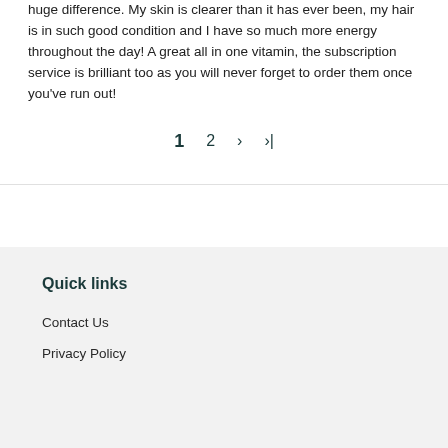huge difference. My skin is clearer than it has ever been, my hair is in such good condition and I have so much more energy throughout the day! A great all in one vitamin, the subscription service is brilliant too as you will never forget to order them once you've run out!
1  2  >  >|
Quick links
Contact Us
Privacy Policy